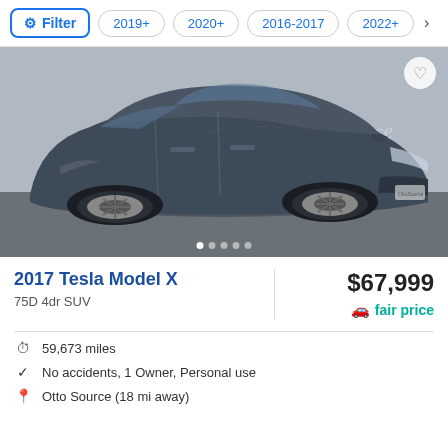Filter  2019+  2020+  2016-2017  2022+
[Figure (photo): Dark gray 2017 Tesla Model X SUV photographed in a showroom from a front 3/4 angle, with dealership branding 'Otto Source' visible in the background. Image carousel with dot indicators at bottom.]
2017 Tesla Model X
75D 4dr SUV
$67,999
fair price
59,673 miles
No accidents, 1 Owner, Personal use
Otto Source (18 mi away)